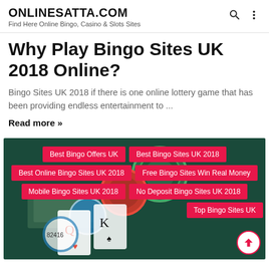ONLINESATTA.COM — Find Here Online Bingo, Casino & Slots Sites
Why Play Bingo Sites UK 2018 Online?
Bingo Sites UK 2018 if there is one online lottery game that has been providing endless entertainment to ...
Read more »
[Figure (photo): Casino background with bingo chips, playing cards and a woman, overlaid with red category tag buttons: Best Bingo Offers UK, Best Bingo Sites UK 2018, Best Online Bingo Sites UK 2018, Free Bingo Sites Win Real Money, Mobile Bingo Sites UK 2018, No Deposit Bingo Sites UK 2018, Top Bingo Sites UK]